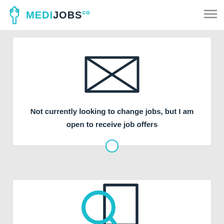[Figure (logo): MediJobs.co logo with teal icon and text]
[Figure (illustration): Envelope/email icon outline in dark teal — square envelope shape with X cross inside]
Not currently looking to change jobs, but I am open to receive job offers
[Figure (illustration): Teal magnifying glass over a dark document — search icon]